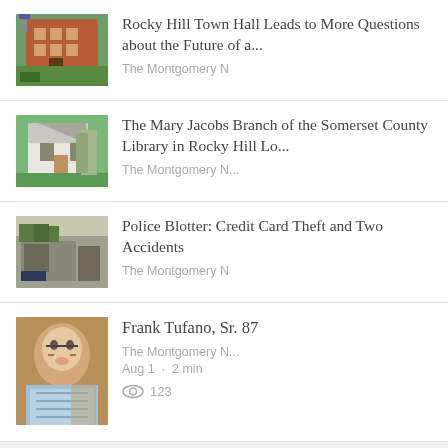Rocky Hill Town Hall Leads to More Questions about the Future of a... — The Montgomery N
The Mary Jacobs Branch of the Somerset County Library in Rocky Hill Lo... — The Montgomery N...
Police Blotter: Credit Card Theft and Two Accidents — The Montgomery N
Frank Tufano, Sr. 87 — The Montgomery N... Aug 1 · 2 min — 123 views